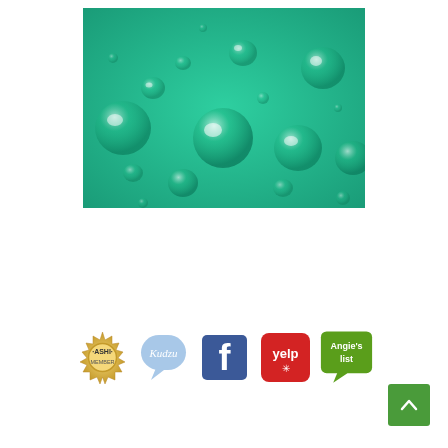[Figure (photo): Close-up photo of water droplets on a bright green surface, showing multiple spherical water drops of varying sizes with reflective highlights against a teal/green background.]
[Figure (logo): Row of five social/review/certification logos: ASHI (golden seal badge), Kudzu (light blue speech bubble), Facebook (blue 'f' icon), Yelp (red rounded square with star), Angie's List (green speech bubble with 'Angie's list' text). Also includes a green scroll-to-top button with upward chevron arrow at the bottom right.]